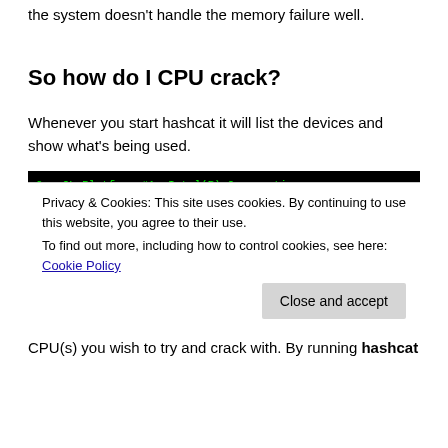the system doesn't handle the memory failure well.
So how do I CPU crack?
Whenever you start hashcat it will list the devices and show what’s being used.
[Figure (screenshot): Terminal screenshot showing OpenCL platform listing with Device #1 (Intel Core i7-7700HQ CPU @ 2.80GHz, skipped) and Device #2 (GeForce GTX 1060, 1536/6144 MB allocatable, 10MCU). A cookie consent overlay is shown on top of the terminal.]
CPU(s) you wish to try and crack with. By running hashcat